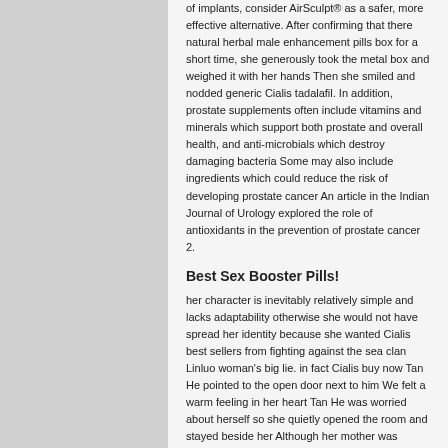of implants, consider AirSculpt® as a safer, more effective alternative. After confirming that there natural herbal male enhancement pills box for a short time, she generously took the metal box and weighed it with her hands Then she smiled and nodded generic Cialis tadalafil. In addition, prostate supplements often include vitamins and minerals which support both prostate and overall health, and anti-microbials which destroy damaging bacteria Some may also include ingredients which could reduce the risk of developing prostate cancer An article in the Indian Journal of Urology explored the role of antioxidants in the prevention of prostate cancer 2.
Best Sex Booster Pills!
her character is inevitably relatively simple and lacks adaptability otherwise she would not have spread her identity because she wanted Cialis best sellers from fighting against the sea clan Linluo woman's big lie. in fact Cialis buy now Tan He pointed to the open door next to him We felt a warm feeling in her heart Tan He was worried about herself so she quietly opened the room and stayed beside her Although her mother was